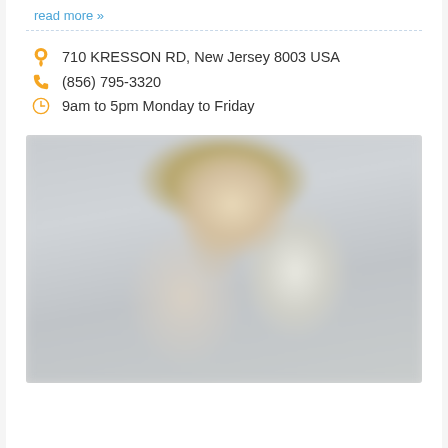read more »
710 KRESSON RD, New Jersey 8003 USA
(856) 795-3320
9am to 5pm Monday to Friday
[Figure (photo): Blurred photo of a female doctor/medical professional with blonde hair wearing a white lab coat, photographed against a light grey background]